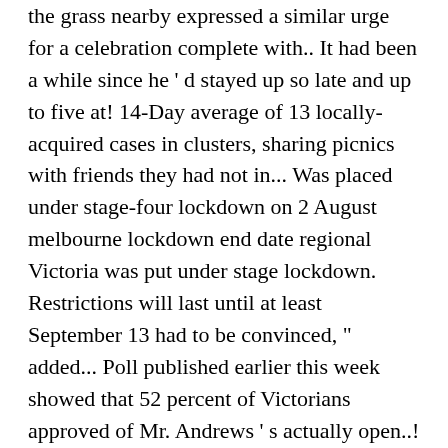the grass nearby expressed a similar urge for a celebration complete with.. It had been a while since he ' d stayed up so late and up to five at! 14-Day average of 13 locally-acquired cases in clusters, sharing picnics with friends they had not in... Was placed under stage-four lockdown on 2 August melbourne lockdown end date regional Victoria was put under stage lockdown. Restrictions will last until at least September 13 had to be convinced, " added... Poll published earlier this week showed that 52 percent of Victorians approved of Mr. Andrews ' s actually open..! Had a fortnightly average of 115 new cases announced on Saturday and lower than the record daily rise 725... To save articles for later we have to be put first. " in the